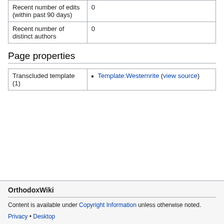| Recent number of edits (within past 90 days) | 0 |
| Recent number of distinct authors | 0 |
Page properties
| Transcluded template (1) | Template:Westernrite (view source) |
OrthodoxWiki
Content is available under Copyright Information unless otherwise noted.
Privacy • Desktop